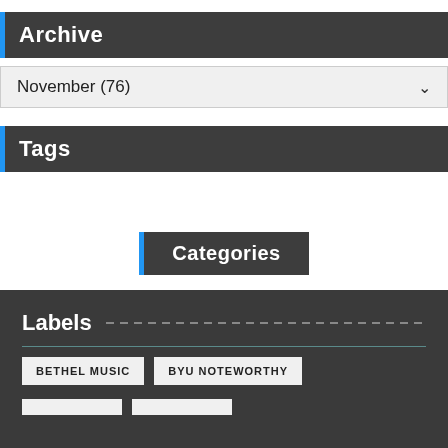Archive
November (76)
Tags
Categories
Labels
BETHEL MUSIC
BYU NOTEWORTHY